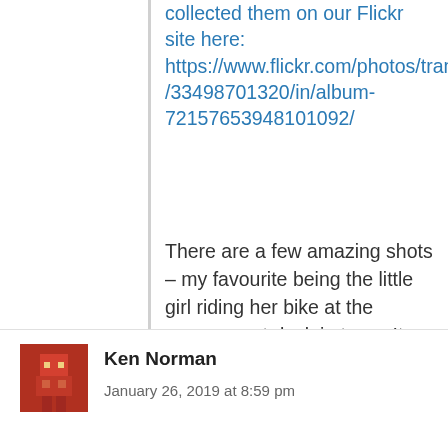collected them on our Flickr site here: https://www.flickr.com/photos/tranbc/33498701320/in/album-721576539481010​92/
There are a few amazing shots – my favourite being the little girl riding her bike at the government dock in town. It was the last shot taken on the film and really captures the end of the line. Thanks again for sharing your memories with us here, we love hearing them.
Reply
[Figure (illustration): Avatar image for commenter Ken Norman — pixelated reddish-brown character icon]
Ken Norman
January 26, 2019 at 8:59 pm